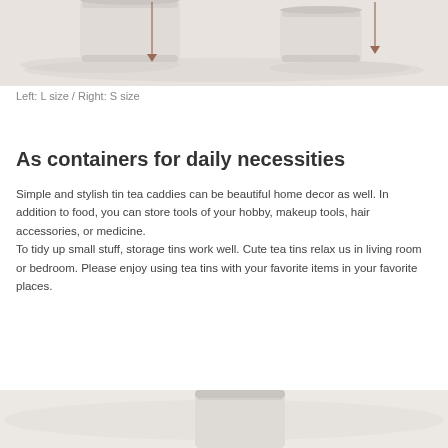[Figure (photo): Two ceramic tin canisters (L size on left, S size on right) on a white cloth background, with brown downward arrows indicating the height of each canister.]
Left: L size / Right: S size
As containers for daily necessities
Simple and stylish tin tea caddies can be beautiful home decor as well. In addition to food, you can store tools of your hobby, makeup tools, hair accessories, or medicine.
To tidy up small stuff, storage tins work well. Cute tea tins relax us in living room or bedroom. Please enjoy using tea tins with your favorite items in your favorite places.
[Figure (photo): Partial view of a ceramic tin canister on a white background, cropped at the bottom of the page.]